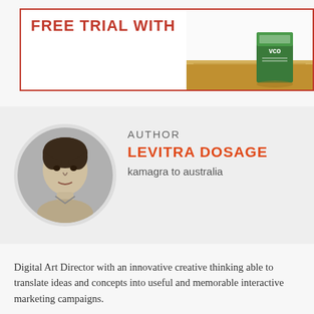[Figure (illustration): Product advertisement banner with red border showing partial red text at top and a product box (labeled 'vco' or similar) resting on a wooden cutting board surface on the right side]
[Figure (photo): Circular black-and-white portrait photo of a young man with curly hair wearing a collared shirt]
AUTHOR
LEVITRA DOSAGE
kamagra to australia
Digital Art Director with an innovative creative thinking able to translate ideas and concepts into useful and memorable interactive marketing campaigns.